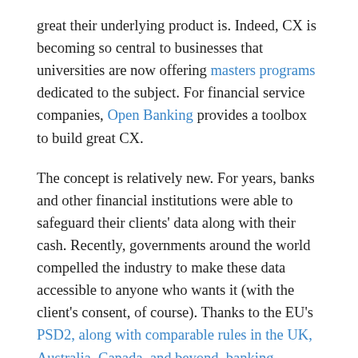great their underlying product is. Indeed, CX is becoming so central to businesses that universities are now offering masters programs dedicated to the subject. For financial service companies, Open Banking provides a toolbox to build great CX.
The concept is relatively new. For years, banks and other financial institutions were able to safeguard their clients' data along with their cash. Recently, governments around the world compelled the industry to make these data accessible to anyone who wants it (with the client's consent, of course). Thanks to the EU's PSD2, along with comparable rules in the UK, Australia, Canada, and beyond, banking information now flows freely from APIs.
As you can imagine, the disruption from this deluge of new sources of data is enormous. Practically all corners of finance and banking are changing.